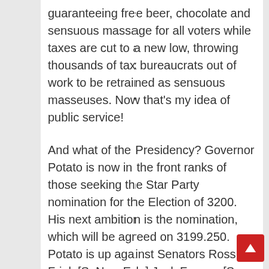guaranteeing free beer, chocolate and sensuous massage for all voters while taxes are cut to a new low, throwing thousands of tax bureaucrats out of work to be retrained as sensuous masseuses. Now that's my idea of public service!
And what of the Presidency? Governor Potato is now in the front ranks of those seeking the Star Party nomination for the Election of 3200. His next ambition is the nomination, which will be agreed on 3199.250. Potato is up against Senators Ross Frink [S. New Edo] Jock Fungus [S. HighLand] and Durva Izom [S. Paradise] as well as his fellow Governor Leo Diaperstein [S. Quadrant 2]. It'll be tough, make no mistake – but Potato's GFA total ratings are now on 22% [up from 1% on 3198.299] putting him in third place behind Frink and Fungus. And Potato's